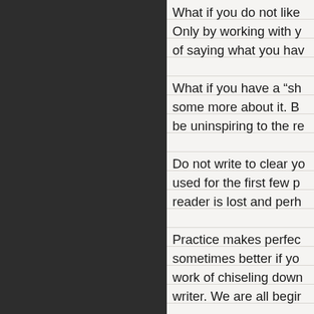What if you do not like
Only by working with y
of saying what you hav
What if you have a “sh
some more about it. B
be uninspiring to the re
Do not write to clear yo
used for the first few p
reader is lost and perh
Practice makes perfec
sometimes better if yo
work of chiseling down
writer. We are all begir